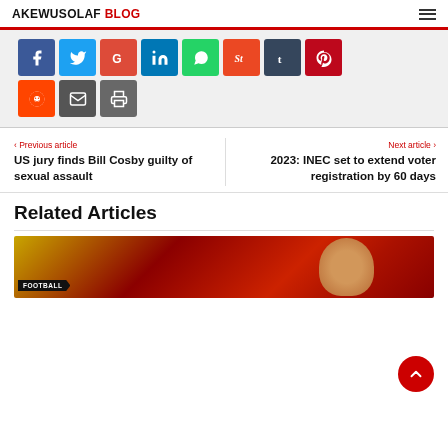AKEWUSOLAF BLOG
[Figure (infographic): Social media share buttons: Facebook, Twitter, Google, LinkedIn, WhatsApp, StumbleUpon, Tumblr, Pinterest (row 1); Reddit, Email, Print (row 2)]
< Previous article
US jury finds Bill Cosby guilty of sexual assault
Next article >
2023: INEC set to extend voter registration by 60 days
Related Articles
[Figure (photo): Football related image with FOOTBALL tag label, partial face visible against red/yellow background]